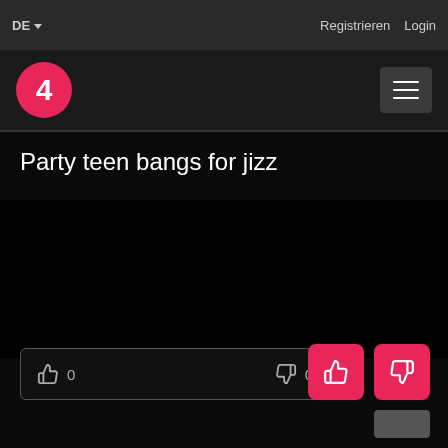DE ▾   Registrieren   Login
[Figure (logo): Pink circle with number 4 logo and hamburger menu icon]
Party teen bangs for jizz
[Figure (screenshot): Black video player area]
👍 0   👎 0
[Figure (other): Pink thumbs up button and pink thumbs down button]